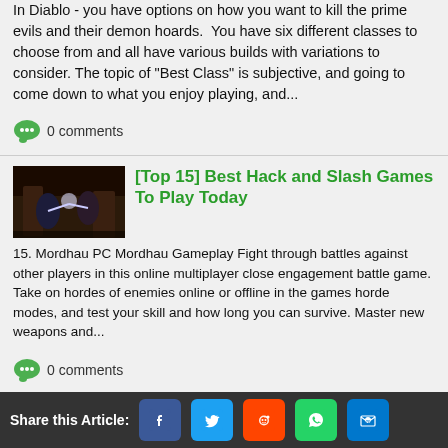In Diablo - you have options on how you want to kill the prime evils and their demon hoards.  You have six different classes to choose from and all have various builds with variations to consider. The topic of "Best Class" is subjective, and going to come down to what you enjoy playing, and...
0 comments
[Figure (screenshot): Dark fantasy action game screenshot showing characters fighting]
[Top 15] Best Hack and Slash Games To Play Today
15. Mordhau PC Mordhau Gameplay Fight through battles against other players in this online multiplayer close engagement battle game. Take on hordes of enemies online or offline in the games horde modes, and test your skill and how long you can survive. Master new weapons and...
0 comments
[Figure (screenshot): Dark fantasy image featuring a demonic figure with fire]
Is Diablo 3 Going to Hell?
Share this Article: